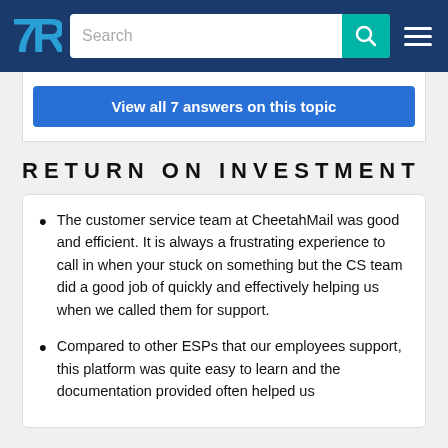TrustRadius - Search - Menu
View all 7 answers on this topic
RETURN ON INVESTMENT
The customer service team at CheetahMail was good and efficient. It is always a frustrating experience to call in when your stuck on something but the CS team did a good job of quickly and effectively helping us when we called them for support.
Compared to other ESPs that our employees support, this platform was quite easy to learn and the documentation provided often helped us